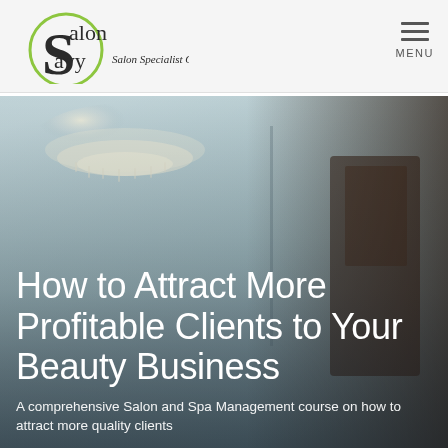[Figure (logo): Salon Savy logo with green circular S motif and text 'Salon Savy — Salon Specialist Coach']
[Figure (photo): Interior of a salon/spa with crystal chandelier, light-colored walls, and a dark wooden display cabinet. Hero banner background image.]
How to Attract More Profitable Clients to Your Beauty Business
A comprehensive Salon and Spa Management course on how to attract more quality clients